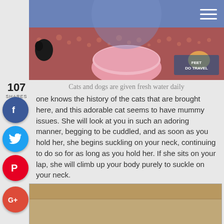[Figure (photo): Photo of cats near a pink water bowl on a patterned floor, with 'Feet Do Travel' watermark in bottom right]
Cats and dogs are given fresh water daily
one knows the history of the cats that are brought here, and this adorable cat seems to have mummy issues. She will look at you in such an adoring manner, begging to be cuddled, and as soon as you hold her, she begins suckling on your neck, continuing to do so for as long as you hold her. If she sits on your lap, she will climb up your body purely to suckle on your neck.
[Figure (photo): Bottom portion of another photo, appearing to show sandy or earthy ground]